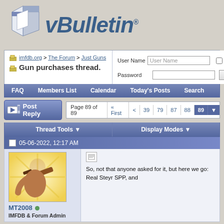[Figure (logo): vBulletin forum software logo with stylized geometric icon and italic blue text]
imfdb.org > The Forum > Just Guns — Gun purchases thread.
User Name | Password | Remember Me? | Log in
FAQ | Members List | Calendar | Today's Posts | Search
Post Reply — Page 89 of 89 « First < 39 79 87 88 89
Thread Tools ▼ | Display Modes ▼
05-06-2022, 12:17 AM
[Figure (photo): User avatar showing a person holding a firearm with sunburst background illustration]
MT2008 — IMFDB & Forum Admin
So, not that anyone asked for it, but here we go: Real Steyr SPP, and